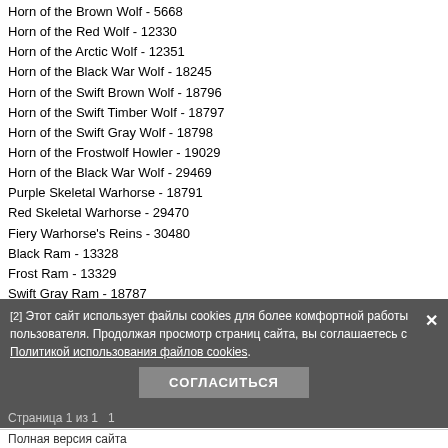Horn of the Brown Wolf - 5668
Horn of the Red Wolf - 12330
Horn of the Arctic Wolf - 12351
Horn of the Black War Wolf - 18245
Horn of the Swift Brown Wolf - 18796
Horn of the Swift Timber Wolf - 18797
Horn of the Swift Gray Wolf - 18798
Horn of the Frostwolf Howler - 19029
Horn of the Black War Wolf - 29469
Purple Skeletal Warhorse - 18791
Red Skeletal Warhorse - 29470
Fiery Warhorse's Reins - 30480
Black Ram - 13328
Frost Ram - 13329
Swift Gray Ram - 18787
Green Kodo - 15292
Teal Kodo - 15293
Black War Kodo - 18247
Great White Kodo - 18793
Great Brown Kodo - 18794
Great Gray Kodo - 18795
Black War Kodo - 29466
Swift Pink Hawkstrider - 28936
Black Hawkstrider - 29221
Blue Hawkstrider - 29220
Purple Hawkstrider - 29222
Swift Green Hawkstrider - 29223
Swift Purple Hawkstrider - 29224
Reins of the Winterspring Frostsaber - 13086
Этот сайт использует файлы cookies для более комфортной работы пользователя. Продолжая просмотр страниц сайта, вы соглашаетесь с Политикой использования файлов cookies.
Страница 1 из 1   1
Полная версия сайта